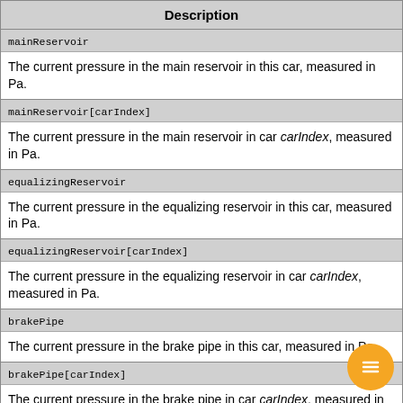| Description |
| --- |
| mainReservoir | The current pressure in the main reservoir in this car, measured in Pa. |
| mainReservoir[carIndex] | The current pressure in the main reservoir in car carIndex, measured in Pa. |
| equalizingReservoir | The current pressure in the equalizing reservoir in this car, measured in Pa. |
| equalizingReservoir[carIndex] | The current pressure in the equalizing reservoir in car carIndex, measured in Pa. |
| brakePipe | The current pressure in the brake pipe in this car, measured in Pa. |
| brakePipe[carIndex] | The current pressure in the brake pipe in car carIndex, measured in Pa. |